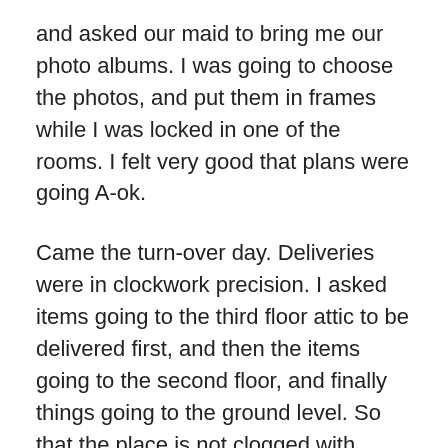and asked our maid to bring me our photo albums. I was going to choose the photos, and put them in frames while I was locked in one of the rooms. I felt very good that plans were going A-ok.
Came the turn-over day. Deliveries were in clockwork precision. I asked items going to the third floor attic to be delivered first, and then the items going to the second floor, and finally things going to the ground level. So that the place is not clogged with deliveries, and we can work on other things while furniture and appliances were being lifted from the trucks to their designated spaces. As deliveries were being made, two men were mounting the paintings on the walls, the tiffany lamp was being installed. Then came the contractor who did my curtains, having measured the windows while the house was still under construction. They were installing the curtains on the 5th